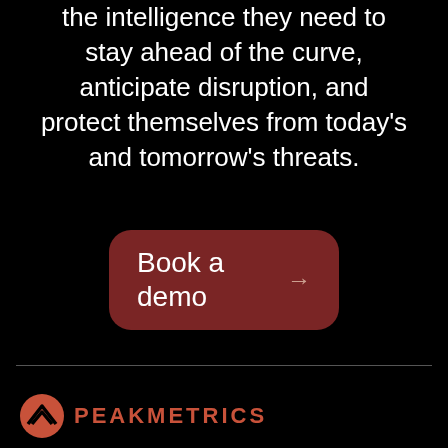the intelligence they need to stay ahead of the curve, anticipate disruption, and protect themselves from today's and tomorrow's threats.
[Figure (other): Book a demo button with right arrow, dark red rounded rectangle]
[Figure (logo): PeakMetrics logo with mountain/chevron icon and PEAKMETRICS wordmark in orange-red]